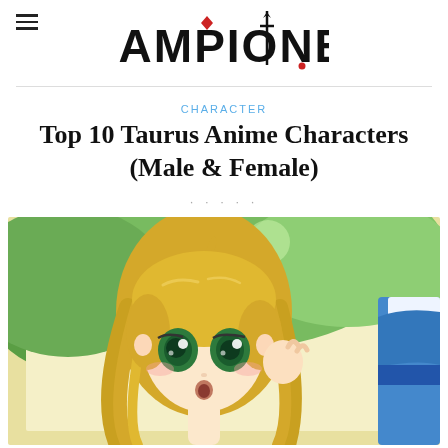CAMPIONE!
CHARACTER
Top 10 Taurus Anime Characters (Male & Female)
[Figure (illustration): Anime illustration of a blonde female character with green eyes and long hair, outdoors with a green tree background, partial view of another character on the right with blue and white outfit.]